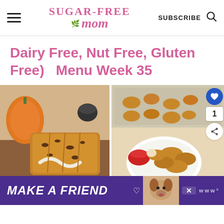Sugar-Free Mom — SUBSCRIBE
Dairy Free, Nut Free, Gluten Free)  Menu Week 35
[Figure (photo): Sliced pumpkin chocolate chip loaf bread on a wooden cutting board, with a pumpkin in the background]
[Figure (photo): Chicken nuggets on a white plate with ketchup dipping sauce, and more nuggets on a baking tray in the background. Social share overlay with heart button (1) and share button.]
[Figure (photo): Advertisement banner: purple background with 'MAKE A FRIEND' text and a dog photo, with a close (X) button]